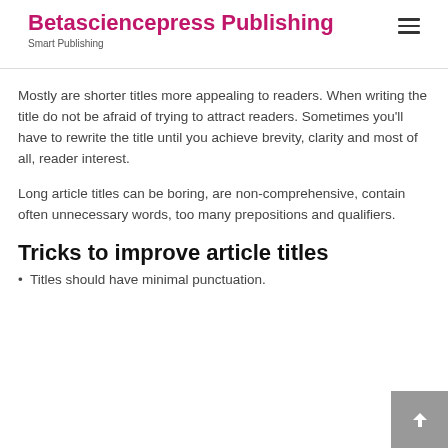Betasciencepress Publishing
Smart Publishing
Mostly are shorter titles more appealing to readers. When writing the title do not be afraid of trying to attract readers. Sometimes you'll have to rewrite the title until you achieve brevity, clarity and most of all, reader interest.
Long article titles can be boring, are non-comprehensive, contain often unnecessary words, too many prepositions and qualifiers.
Tricks to improve article titles
Titles should have minimal punctuation.